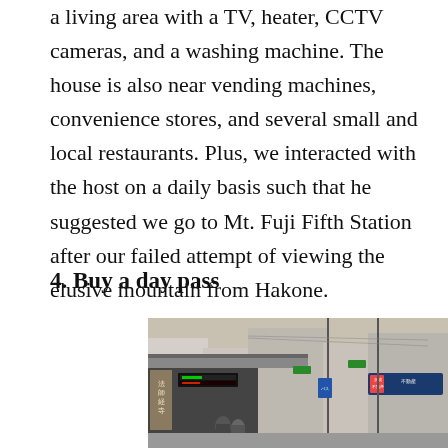a living area with a TV, heater, CCTV cameras, and a washing machine. The house is also near vending machines, convenience stores, and several small and local restaurants. Plus, we interacted with the host on a daily basis such that he suggested we go to Mt. Fuji Fifth Station after our failed attempt of viewing the elusive mountain from Hakone.
4. Buy a day pass
[Figure (photo): A busy Japanese street/station scene with Japanese signage, buildings, and people. Visible signs include 法師経寺 and 京成不動産. Electronic display boards are visible at what appears to be a transit station entrance.]